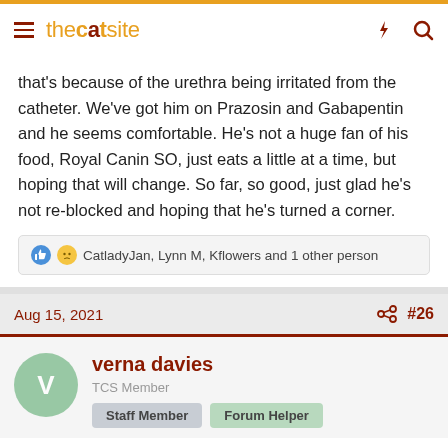thecatsite
that's because of the urethra being irritated from the catheter. We've got him on Prazosin and Gabapentin and he seems comfortable. He's not a huge fan of his food, Royal Canin SO, just eats a little at a time, but hoping that will change. So far, so good, just glad he's not re-blocked and hoping that he's turned a corner.
CatladyJan, Lynn M, Kflowers and 1 other person
Aug 15, 2021 #26
verna davies
TCS Member
Staff Member | Forum Helper